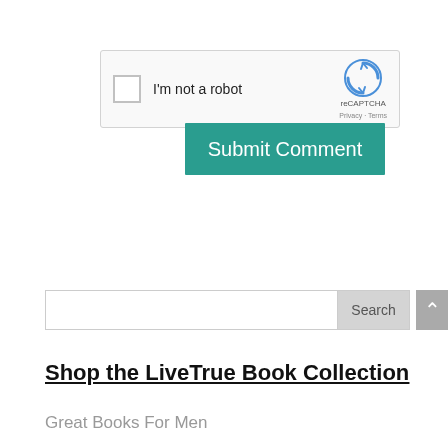[Figure (screenshot): reCAPTCHA widget with checkbox, 'I'm not a robot' text, reCAPTCHA logo and branding, Privacy and Terms links]
Submit Comment
[Figure (screenshot): Search input field with a Search button]
[Figure (screenshot): Scroll-to-top button with upward arrow, gray background]
Shop the LiveTrue Book Collection
Great Books For Men